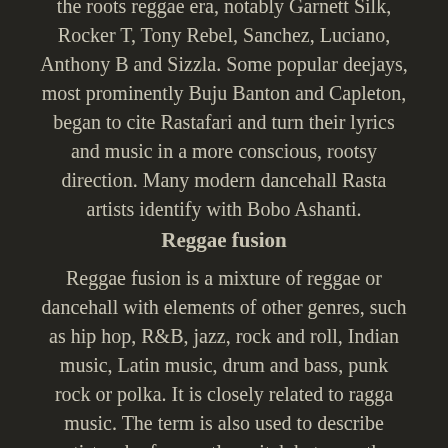the roots reggae era, notably Garnett Silk, Rocker T, Tony Rebel, Sanchez, Luciano, Anthony B and Sizzla. Some popular deejays, most prominently Buju Banton and Capleton, began to cite Rastafari and turn their lyrics and music in a more conscious, rootsy direction. Many modern dancehall Rasta artists identify with Bobo Ashanti.
Reggae fusion
Reggae fusion is a mixture of reggae or dancehall with elements of other genres, such as hip hop, R&B, jazz, rock and roll, Indian music, Latin music, drum and bass, punk rock or polka. It is closely related to ragga music. The term is also used to describe artists who frequently switch between the dancehall and reggae genres and other genres, mainly rap and R&B. It